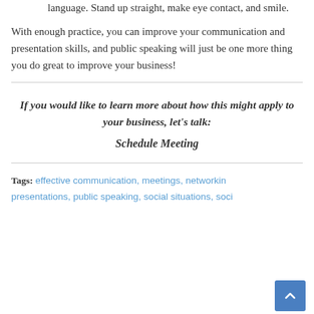language. Stand up straight, make eye contact, and smile.
With enough practice, you can improve your communication and presentation skills, and public speaking will just be one more thing you do great to improve your business!
If you would like to learn more about how this might apply to your business, let's talk:
Schedule Meeting
Tags: effective communication, meetings, networking, presentations, public speaking, social situations, social